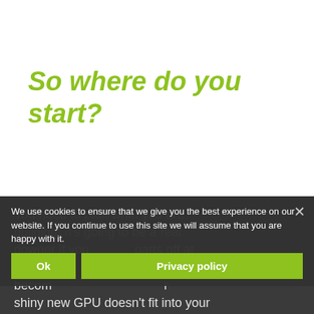So where do you start?
You need to plan what you are building! It's going to be a real downer if you grab parts off at random. What might become apparent is your shiny new GPU doesn't fit into your
We use cookies to ensure that we give you the best experience on our website. If you continue to use this site we will assume that you are happy with it.
Ok
Privacy policy